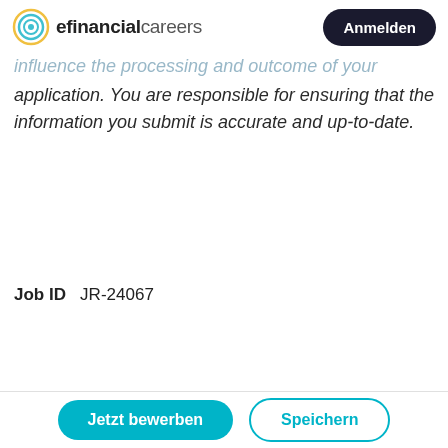efinancialcareers  Anmelden
Personal data, to be considered for this career opportunity. provide such information as would influence the processing and outcome of your application. You are responsible for ensuring that the information you submit is accurate and up-to-date.
Job ID  JR-24067
Jetzt bewerben
ÜBER DAS UNTERNEHMEN
Jetzt bewerben
Speichern